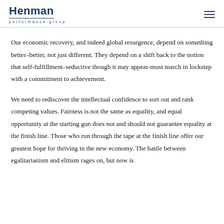Henman performance group
Our economic recovery, and indeed global resurgence, depend on something better–better, not just different. They depend on a shift back to the notion that self-fulfillment–seductive though it may appear-must march in lockstep with a commitment to achievement.
We need to rediscover the intellectual confidence to sort out and rank competing values. Fairness is not the same as equality, and equal opportunity at the starting gun does not and should not guarantee equality at the finish line. Those who run through the tape at the finish line offer our greatest hope for thriving in the new economy. The battle between egalitarianism and elitism rages on, but now is